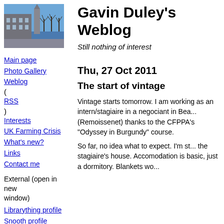[Figure (photo): Photo of a building/church with bare trees against a blue sky, likely in Copenhagen]
Gavin Duley's Weblog
Still nothing of interest
Main page
Photo Gallery
Weblog (RSS)
Interests
UK Farming Crisis
What's new?
Links
Contact me
External (open in new window)
Librarything profile
Snooth profile
Twitter (RSS)
Thu, 27 Oct 2011
The start of vintage
Vintage starts tomorrow. I am working as an intern/stagiaire in a negociant in Bea... (Remoissenet) thanks to the CFPPA's "Odyssey in Burgundy" course.
So far, no idea what to expect. I'm st... the stagiaire's house. Accomodation is basic, just a dormitory. Blankets wo...